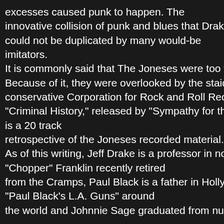excesses caused punk to happen. The innovative collision of punk and blues that Drake and could not be duplicated by many would-be imitators. It is commonly said that The Joneses were too far ah Because of it, they were overlooked by the staid, conservative Corporation for Rock and Roll Recording "Criminal History," released by "Sympathy for the Rec is a 20 track retrospective of the Joneses recorded material. As of this writing, Jeff Drake is a professor in northern "Chopper" Franklin recently retired from the Cramps, Paul Black is a father in Hollywood "Paul Black's L.A. Guns" around the world and Johnnie Sage graduated from nursing
.
REFERENCES - WIKIBIN.ORG http://wikibin.org/index option=com_content&do_pdf=1&id=6834